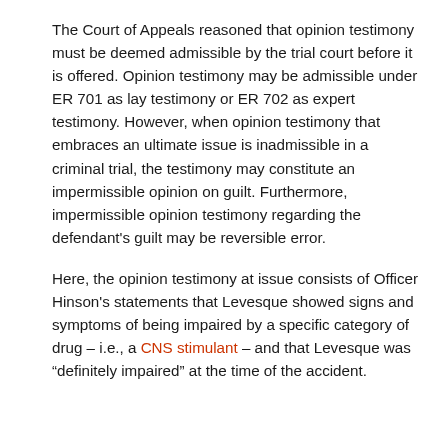The Court of Appeals reasoned that opinion testimony must be deemed admissible by the trial court before it is offered. Opinion testimony may be admissible under ER 701 as lay testimony or ER 702 as expert testimony. However, when opinion testimony that embraces an ultimate issue is inadmissible in a criminal trial, the testimony may constitute an impermissible opinion on guilt. Furthermore, impermissible opinion testimony regarding the defendant's guilt may be reversible error.
Here, the opinion testimony at issue consists of Officer Hinson's statements that Levesque showed signs and symptoms of being impaired by a specific category of drug – i.e., a CNS stimulant – and that Levesque was “definitely impaired” at the time of the accident.